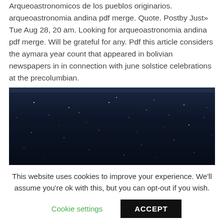Arqueoastronomicos de los pueblos originarios. arqueoastronomia andina pdf merge. Quote. Postby Just» Tue Aug 28, 20 am. Looking for arqueoastronomia andina pdf merge. Will be grateful for any. Pdf this article considers the aymara year count that appeared in bolivian newspapers in in connection with june solstice celebrations at the precolumbian.
[Figure (photo): Night sky photograph showing a dark blue-black sky with scattered stars and a faint horizon glow at the top.]
This website uses cookies to improve your experience. We'll assume you're ok with this, but you can opt-out if you wish.
Cookie settings   ACCEPT